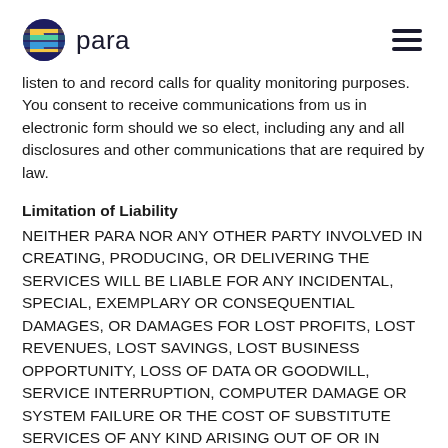para
listen to and record calls for quality monitoring purposes.  You consent to receive communications from us in electronic form should we so elect, including any and all disclosures and other communications that are required by law.
Limitation of Liability
NEITHER PARA NOR ANY OTHER PARTY INVOLVED IN CREATING, PRODUCING, OR DELIVERING THE SERVICES WILL BE LIABLE FOR ANY INCIDENTAL, SPECIAL, EXEMPLARY OR CONSEQUENTIAL DAMAGES, OR DAMAGES FOR LOST PROFITS, LOST REVENUES, LOST SAVINGS, LOST BUSINESS OPPORTUNITY, LOSS OF DATA OR GOODWILL, SERVICE INTERRUPTION, COMPUTER DAMAGE OR SYSTEM FAILURE OR THE COST OF SUBSTITUTE SERVICES OF ANY KIND ARISING OUT OF OR IN CONNECTION WITH THESE